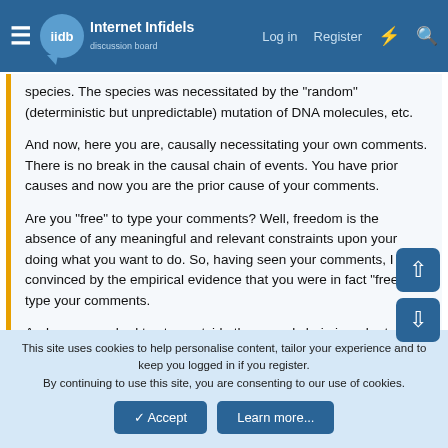Internet Infidels — Log in | Register
species. The species was necessitated by the "random" (deterministic but unpredictable) mutation of DNA molecules, etc.
And now, here you are, causally necessitating your own comments. There is no break in the causal chain of events. You have prior causes and now you are the prior cause of your comments.
Are you "free" to type your comments? Well, freedom is the absence of any meaningful and relevant constraints upon your doing what you want to do. So, having seen your comments, I am convinced by the empirical evidence that you were in fact "free" to type your comments.
And you never had to step outside the causal chain in order to freely type your thoughts.
I type whatever is coming to mind. Thoughts are formed in
This site uses cookies to help personalise content, tailor your experience and to keep you logged in if you register.
By continuing to use this site, you are consenting to our use of cookies.